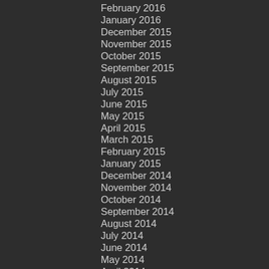February 2016
January 2016
December 2015
November 2015
October 2015
September 2015
August 2015
July 2015
June 2015
May 2015
April 2015
March 2015
February 2015
January 2015
December 2014
November 2014
October 2014
September 2014
August 2014
July 2014
June 2014
May 2014
April 2014
March 2014
February 2014